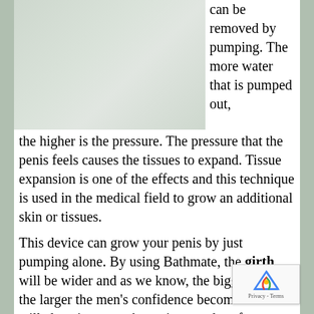[Figure (photo): Image of a product or device, partially visible, greyed out/faded.]
can be removed by pumping. The more water that is pumped out, the higher is the pressure. The pressure that the penis feels causes the tissues to expand. Tissue expansion is one of the effects and this technique is used in the medical field to grow an additional skin or tissues.
This device can grow your penis by just pumping alone. By using Bathmate, the girth will be wider and as we know, the bigger it gets, the larger the men's confidence becomes. This will also give you a boost in sexual performance as well as your sexual stamina. If you have erectile dysfunction, will be effectively handled by it. Some users that are suffering from peronei's disease said that this